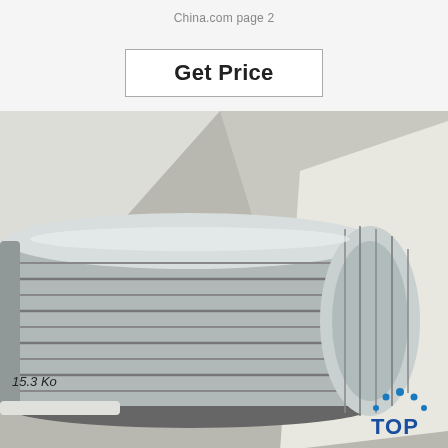China.com page 2
Get Price
[Figure (photo): Close-up photograph of a precision-machined stainless steel threaded cylindrical fitting or coupling, showing multiple grooves and rings. A handwritten label '15.3 Ko' is visible at the bottom left. A 'TOP' logo badge with blue dots appears in the lower right corner of the image.]